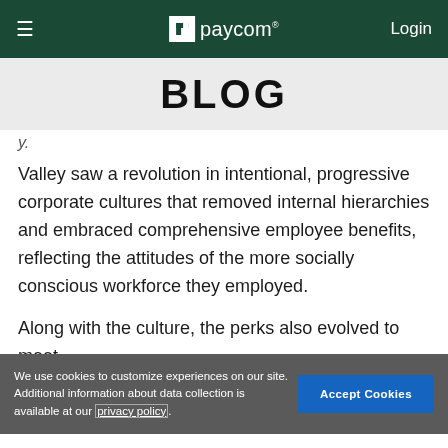≡  paycom®  Login
BLOG
y.
Valley saw a revolution in intentional, progressive corporate cultures that removed internal hierarchies and embraced comprehensive employee benefits, reflecting the attitudes of the more socially conscious workforce they employed.
Along with the culture, the perks also evolved to meet
We use cookies to customize experiences on our site. Additional information about data collection is available at our privacy policy.